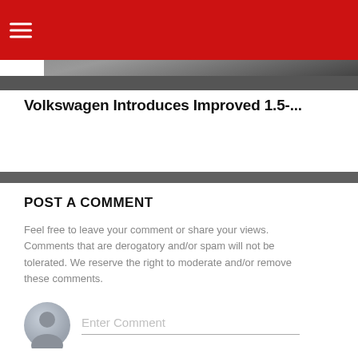[Figure (photo): Red navigation header bar with hamburger menu icon and a partial view of a car/road image in the background]
Volkswagen Introduces Improved 1.5-...
POST A COMMENT
Feel free to leave your comment or share your views. Comments that are derogatory and/or spam will not be tolerated. We reserve the right to moderate and/or remove these comments.
[Figure (illustration): Gray avatar/user profile circle icon next to an Enter Comment input field with a bottom border underline]